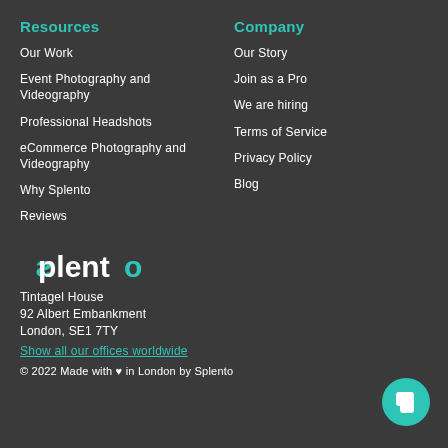Resources
Our Work
Event Photography and Videography
Professional Headshots
eCommerce Photography and Videography
Why Splento
Reviews
Company
Our Story
Join as a Pro
We are hiring
Terms of Service
Privacy Policy
Blog
[Figure (logo): Splento logo in white and teal on dark background]
Tintagel House
92 Albert Embankment
London, SE1 7TY
Show all our offices worldwide
© 2022 Made with ♥ in London by Splento